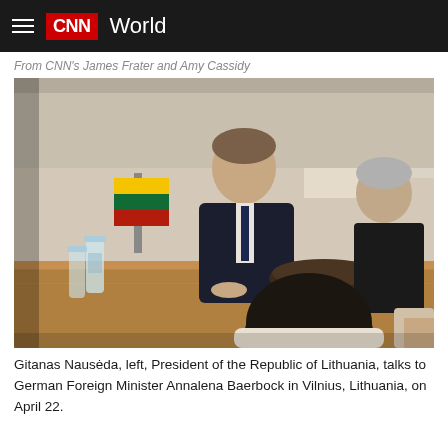CNN World
From CNN's James Frater and Amy Cassidy
[Figure (photo): Gitanas Nausėda, President of the Republic of Lithuania, seated at a conference table with the Lithuanian flag behind him, talking across the table. A woman with grey hair sits to his right. Two people are seen from behind in the foreground.]
Gitanas Nausėda, left, President of the Republic of Lithuania, talks to German Foreign Minister Annalena Baerbock in Vilnius, Lithuania, on April 22.